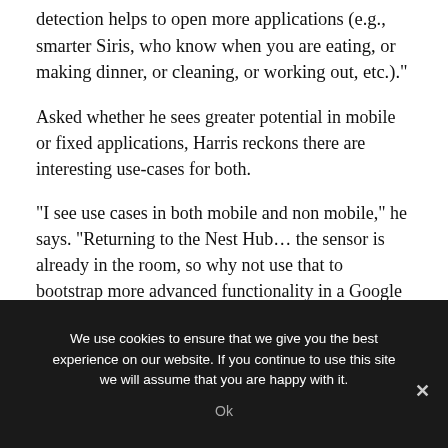detection helps to open more applications (e.g., smarter Siris, who know when you are eating, or making dinner, or cleaning, or working out, etc.)."
Asked whether he sees greater potential in mobile or fixed applications, Harris reckons there are interesting use-cases for both.
“I see use cases in both mobile and non mobile,” he says. “Returning to the Nest Hub… the sensor is already in the room, so why not use that to bootstrap more advanced functionality in a Google smart speaker (like rep counting your exercises).
We use cookies to ensure that we give you the best experience on our website. If you continue to use this site we will assume that you are happy with it.
Ok